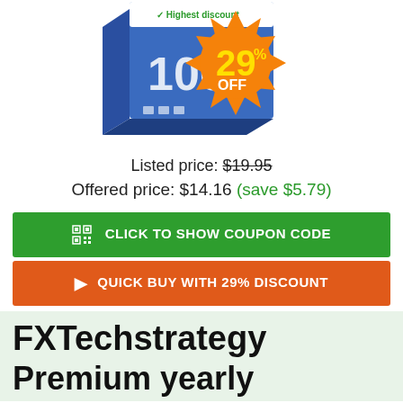[Figure (illustration): Product box image with '100' visible and a person in background, with a large orange starburst badge showing '29% OFF' in yellow text]
Listed price: $19.95
Offered price: $14.16 (save $5.79)
CLICK TO SHOW COUPON CODE
QUICK BUY WITH 29% DISCOUNT
FXTechstrategy
Premium yearly